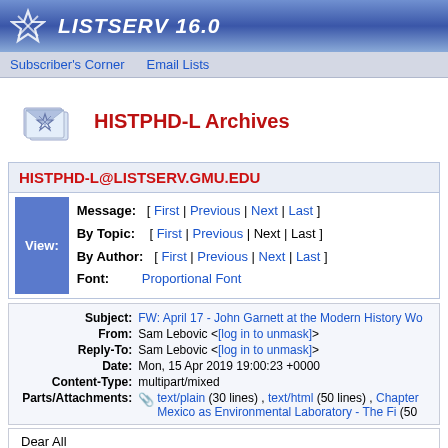LISTSERV 16.0
Subscriber's Corner   Email Lists
HISTPHD-L Archives
HISTPHD-L@LISTSERV.GMU.EDU
View: Message: [ First | Previous | Next | Last ] By Topic: [ First | Previous | Next | Last ] By Author: [ First | Previous | Next | Last ] Font: Proportional Font
| Subject | From | Reply-To | Date | Content-Type | Parts/Attachments |
| --- | --- | --- | --- | --- | --- |
| FW: April 17 - John Garnett at the Modern History Wo... | Sam Lebovic <[log in to unmask]> | Sam Lebovic <[log in to unmask]> | Mon, 15 Apr 2019 19:00:23 +0000 | multipart/mixed | text/plain (30 lines) , text/html (50 lines) , Chapter... Mexico as Environmental Laboratory - The Fi (50... |
Dear All